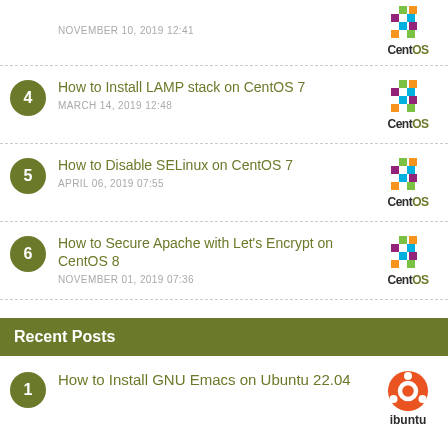NOVEMBER 10, 2019 12:41 [CentOS logo partial]
4. How to Install LAMP stack on CentOS 7 — MARCH 14, 2019 12:48
5. How to Disable SELinux on CentOS 7 — APRIL 06, 2019 07:55
6. How to Secure Apache with Let's Encrypt on CentOS 8 — NOVEMBER 01, 2019 07:36
Recent Posts
1. How to Install GNU Emacs on Ubuntu 22.04